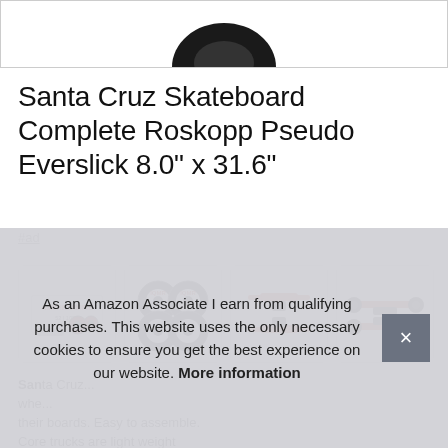[Figure (photo): Partial top view of a skateboard wheel or product image (black circular shape) cropped at top of page]
Santa Cruz Skateboard Complete Roskopp Pseudo Everslick 8.0" x 31.6"
#ad
[Figure (photo): Grid of 4 product images: bearings/hardware pack, 4 black and red skateboard wheels, red skateboard trucks (pair), red skateboard trucks assembled with wheels]
San... whe... their boards. Easy to assemble. Core trucks are light weight
As an Amazon Associate I earn from qualifying purchases. This website uses the only necessary cookies to ensure you get the best experience on our website. More information